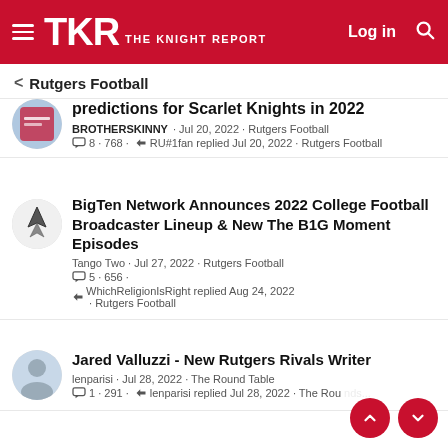TKR THE KNIGHT REPORT — Log in
< Rutgers Football
predictions for Scarlet Knights in 2022
BROTHERSKINNY · Jul 20, 2022 · Rutgers Football
8 · 768 · RU#1fan replied Jul 20, 2022 · Rutgers Football
BigTen Network Announces 2022 College Football Broadcaster Lineup & New The B1G Moment Episodes
Tango Two · Jul 27, 2022 · Rutgers Football
5 · 656 ·
WhichReligionIsRight replied Aug 24, 2022 · Rutgers Football
Jared Valluzzi - New Rutgers Rivals Writer
lenparisi · Jul 28, 2022 · The Round Table
1 · 291 · lenparisi replied Jul 28, 2022 · The Round Table